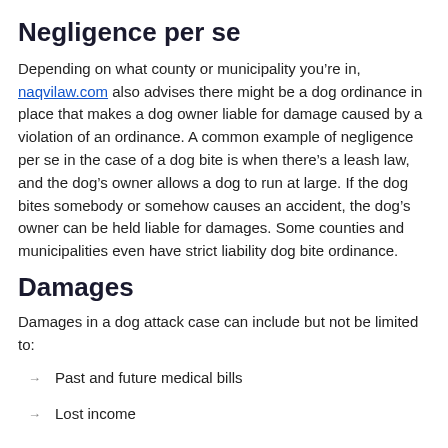Negligence per se
Depending on what county or municipality you’re in, naqvilaw.com also advises there might be a dog ordinance in place that makes a dog owner liable for damage caused by a violation of an ordinance. A common example of negligence per se in the case of a dog bite is when there’s a leash law, and the dog’s owner allows a dog to run at large. If the dog bites somebody or somehow causes an accident, the dog’s owner can be held liable for damages. Some counties and municipalities even have strict liability dog bite ordinance.
Damages
Damages in a dog attack case can include but not be limited to:
Past and future medical bills
Lost income